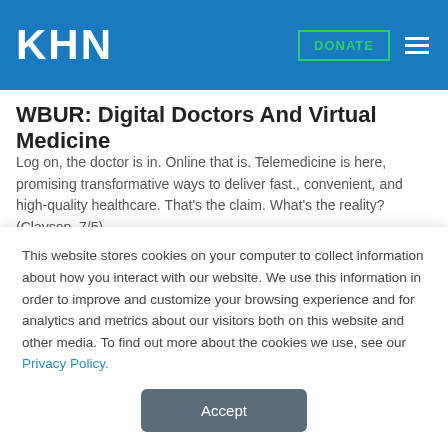KHN | DONATE
WBUR: Digital Doctors And Virtual Medicine
Log on, the doctor is in. Online that is. Telemedicine is here, promising transformative ways to deliver fast., convenient, and high-quality healthcare. That's the claim. What's the reality? (Clayson, 7/5)
WBUR: Should You Take Aspirin? A New App Helps Your Doctor Advise You
Heart disease and stroke are leading killers, and I worry a lot
This website stores cookies on your computer to collect information about how you interact with our website. We use this information in order to improve and customize your browsing experience and for analytics and metrics about our visitors both on this website and other media. To find out more about the cookies we use, see our Privacy Policy.